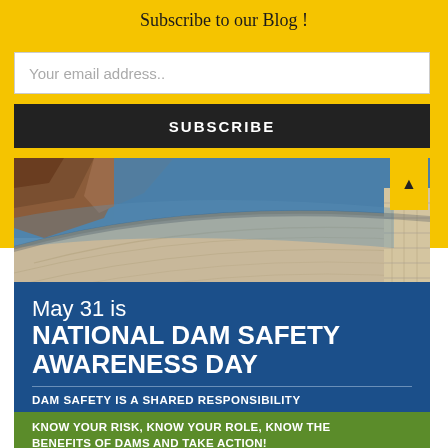Subscribe to our Blog !
Your email address..
SUBSCRIBE
[Figure (photo): Aerial view of a large dam with curved concrete structure, rocky cliffs, and blue reservoir water]
May 31 is NATIONAL DAM SAFETY AWARENESS DAY
DAM SAFETY IS A SHARED RESPONSIBILITY
KNOW YOUR RISK, KNOW YOUR ROLE, KNOW THE BENEFITS OF DAMS AND TAKE ACTION!